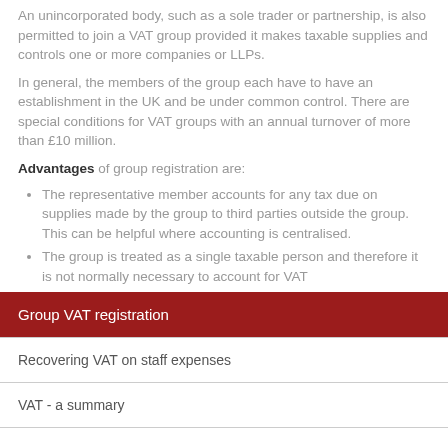An unincorporated body, such as a sole trader or partnership, is also permitted to join a VAT group provided it makes taxable supplies and controls one or more companies or LLPs.
In general, the members of the group each have to have an establishment in the UK and be under common control. There are special conditions for VAT groups with an annual turnover of more than £10 million.
Advantages of group registration are:
The representative member accounts for any tax due on supplies made by the group to third parties outside the group. This can be helpful where accounting is centralised.
The group is treated as a single taxable person and therefore it is not normally necessary to account for VAT
Group VAT registration
Recovering VAT on staff expenses
VAT - a summary